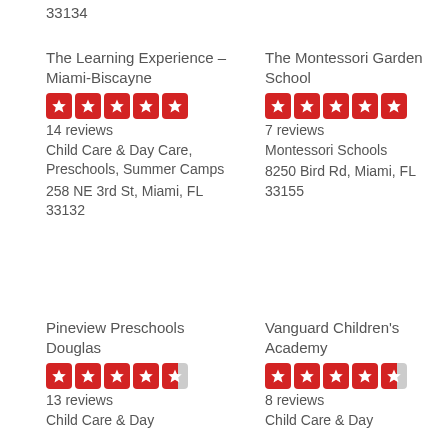33134
The Learning Experience – Miami-Biscayne
5 stars
14 reviews
Child Care & Day Care, Preschools, Summer Camps
258 NE 3rd St, Miami, FL 33132
The Montessori Garden School
5 stars
7 reviews
Montessori Schools
8250 Bird Rd, Miami, FL 33155
Pineview Preschools Douglas
4.5 stars
13 reviews
Child Care & Day
Vanguard Children's Academy
4.5 stars
8 reviews
Child Care & Day